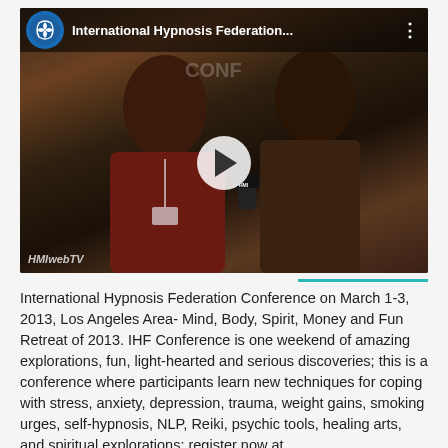[Figure (screenshot): YouTube video thumbnail showing two women at the International Hypnosis Federation Conference. One woman is being interviewed with a microphone labeled HMI. A play button overlay is visible in the center. The video title bar reads 'International Hypnosis Federation...' with a channel logo. A watermark 'HMIwebTV' appears at the bottom left.]
International Hypnosis Federation Conference on March 1-3, 2013, Los Angeles Area- Mind, Body, Spirit, Money and Fun Retreat of 2013. IHF Conference is one weekend of amazing explorations, fun, light-hearted and serious discoveries; this is a conference where participants learn new techniques for coping with stress, anxiety, depression, trauma, weight gains, smoking urges, self-hypnosis, NLP, Reiki, psychic tools, healing arts, and spiritual explorations; register now at